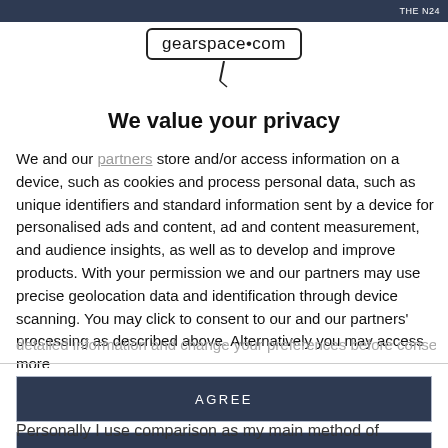THE N24
[Figure (logo): gearspace.com logo with microphone graphic below]
We value your privacy
We and our partners store and/or access information on a device, such as cookies and process personal data, such as unique identifiers and standard information sent by a device for personalised ads and content, ad and content measurement, and audience insights, as well as to develop and improve products. With your permission we and our partners may use precise geolocation data and identification through device scanning. You may click to consent to our and our partners' processing as described above. Alternatively you may access more detailed information and change your preferences before consenting
AGREE
MORE OPTIONS
Personally I use comparison as my main method of